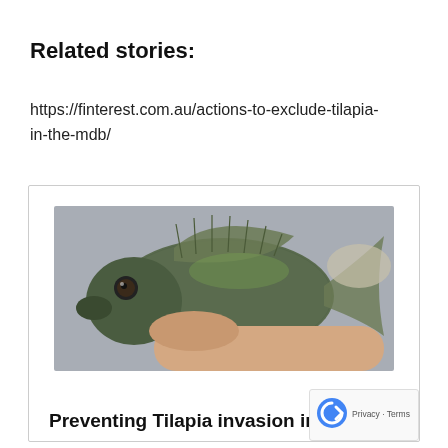Related stories:
https://finterest.com.au/actions-to-exclude-tilapia-in-the-mdb/
[Figure (photo): A small tilapia fish being held by a hand, close-up photograph showing the fish's scales, fins, and eye against a gray background.]
Preventing Tilapia invasion in the